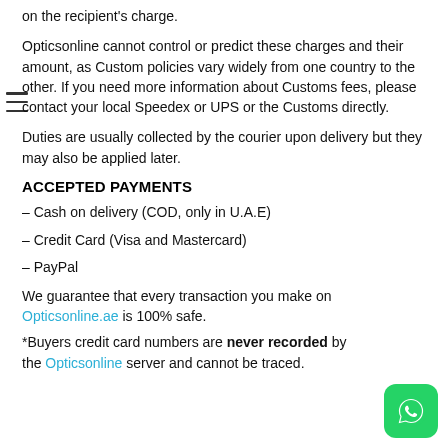on the recipient's charge.
Opticsonline cannot control or predict these charges and their amount, as Custom policies vary widely from one country to the other. If you need more information about Customs fees, please contact your local Speedex or UPS or the Customs directly.
Duties are usually collected by the courier upon delivery but they may also be applied later.
ACCEPTED PAYMENTS
– Cash on delivery (COD, only in U.A.E)
– Credit Card (Visa and Mastercard)
– PayPal
We guarantee that every transaction you make on Opticsonline.ae is 100% safe.
*Buyers credit card numbers are never recorded by the Opticsonline server and cannot be traced.